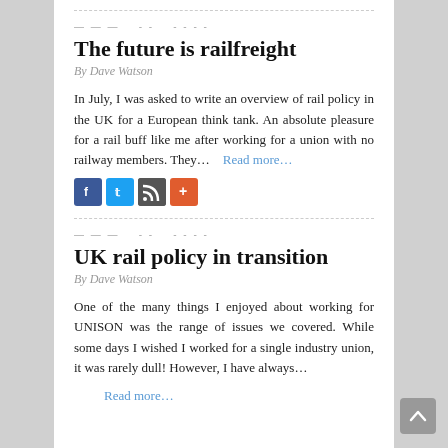— — — - - - - - - -
The future is railfreight
By Dave Watson
In July, I was asked to write an overview of rail policy in the UK for a European think tank. An absolute pleasure for a rail buff like me after working for a union with no railway members. They…   Read more…
[Figure (other): Social sharing buttons: Facebook, Twitter, RSS/Email, Plus]
— — — - - - - - - -
UK rail policy in transition
By Dave Watson
One of the many things I enjoyed about working for UNISON was the range of issues we covered. While some days I wished I worked for a single industry union, it was rarely dull! However, I have always…
Read more…